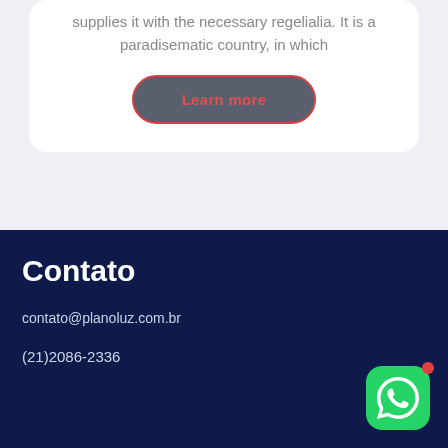supplies it with the necessary regelialia. It is a paradisematic country, in which
Learn more
Contato
contato@planoluz.com.br
(21)2086-2336